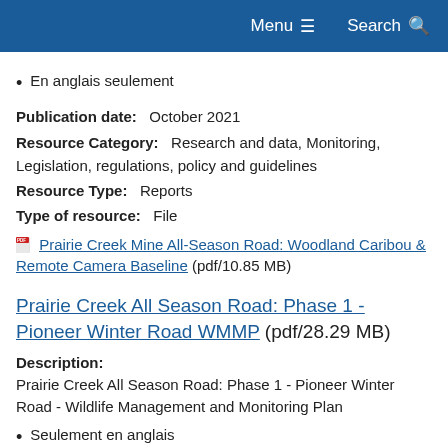Menu  Search
En anglais seulement
Publication date:   October 2021
Resource Category:   Research and data, Monitoring, Legislation, regulations, policy and guidelines
Resource Type:   Reports
Type of resource:   File
Prairie Creek Mine All-Season Road: Woodland Caribou & Remote Camera Baseline (pdf/10.85 MB)
Prairie Creek All Season Road: Phase 1 - Pioneer Winter Road WMMP (pdf/28.29 MB)
Description:
Prairie Creek All Season Road: Phase 1 - Pioneer Winter Road - Wildlife Management and Monitoring Plan
Seulement en anglais